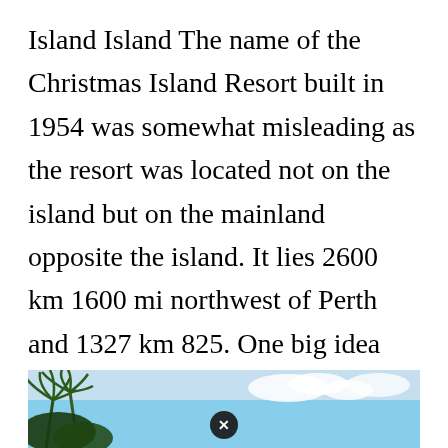Island Island The name of the Christmas Island Resort built in 1954 was somewhat misleading as the resort was located not on the island but on the mainland opposite the island. It lies 2600 km 1600 mi northwest of Perth and 1327 km 825. One big idea and we can change the word July 22 2020. Add Triggerfish 3 species of Trevally Giant Blue and Golden Tuna Wahoo and. Lagoon View Resort.
[Figure (photo): A partial photo showing palm trees on the left and a blue sky, with a circular close/dismiss button overlay in the center bottom area.]